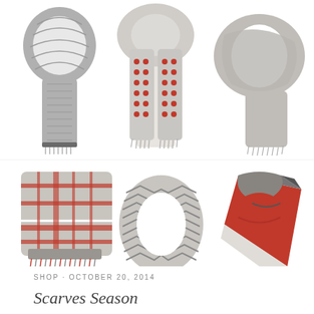[Figure (photo): A 3x2 grid of six scarves: top row shows a grey knit scarf, a grey scarf with red polka dots worn by a model, and a plain grey wrap scarf; bottom row shows a red and grey plaid scarf, a grey chevron infinity scarf, and a grey/red/white color-block scarf.]
SHOP · OCTOBER 20, 2014
Scarves Season